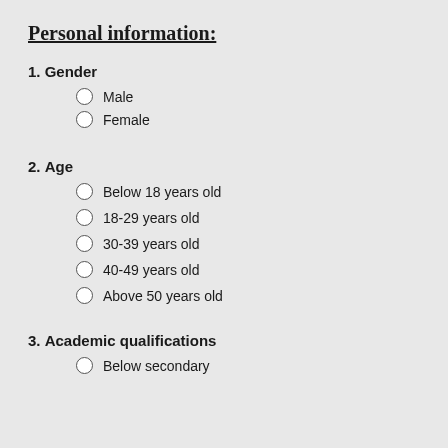Personal information:
1. Gender
Male
Female
2. Age
Below 18 years old
18-29 years old
30-39 years old
40-49 years old
Above 50 years old
3. Academic qualifications
Below secondary